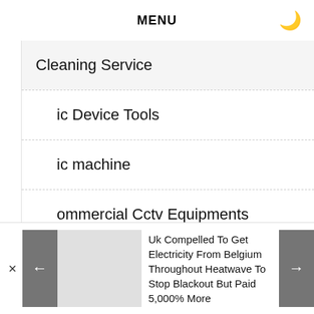MENU
Cleaning Service
ic Device Tools
ic machine
ommercial Cctv Equipments
igital Marketing
PREVIOUS POST
NEXT POST
Uk Compelled To Get Electricity From Belgium Throughout Heatwave To Stop Blackout But Paid 5,000% More